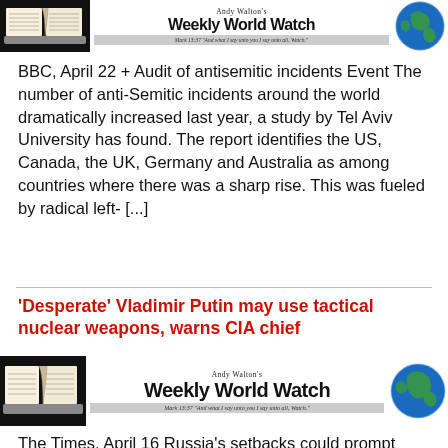[Figure (other): Andy Walton's Weekly World Watch banner with an open Bible on the left, title 'Andy Walton's Weekly World Watch' in bold, a Bible verse tagline, and a globe image on the right (partial, top of page)]
BBC, April 22 + Audit of antisemitic incidents Event The number of anti-Semitic incidents around the world dramatically increased last year, a study by Tel Aviv University has found. The report identifies the US, Canada, the UK, Germany and Australia as among countries where there was a sharp rise. This was fueled by radical left- [...]
'Desperate' Vladimir Putin may use tactical nuclear weapons, warns CIA chief
[Figure (other): Andy Walton's Weekly World Watch banner with an open Bible on the left, title in bold, Bible verse tagline in gray bar, and globe on the right]
The Times, April 16 Russia's setbacks could prompt